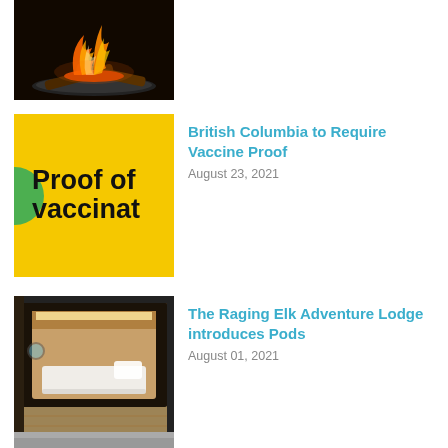[Figure (photo): Campfire with burning logs in a fire pit, dark background]
[Figure (photo): Yellow sign with 'Proof of vaccinat' text (cropped), green circle on left]
British Columbia to Require Vaccine Proof
August 23, 2021
[Figure (photo): Interior of a sleeping pod at Raging Elk Adventure Lodge, warm lit wooden pod with white mattress]
The Raging Elk Adventure Lodge introduces Pods
August 01, 2021
[Figure (photo): Partial view of another article image at bottom]